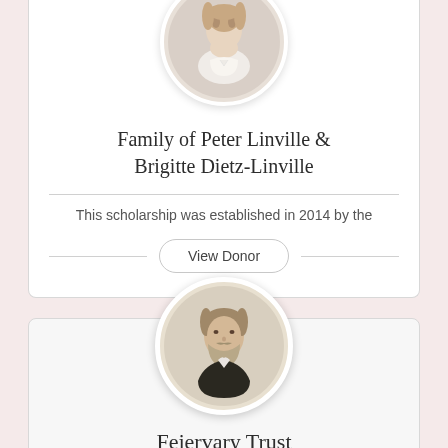[Figure (photo): Circular portrait photo of a woman, partially visible at top of page]
Family of Peter Linville & Brigitte Dietz-Linville
This scholarship was established in 2014 by the
View Donor
[Figure (photo): Circular portrait of an elderly bearded man in formal 19th century attire]
Fejervary Trust
The Fejervary Trust was established in 1896 by Nicholas Fejervary, a successful landowner in